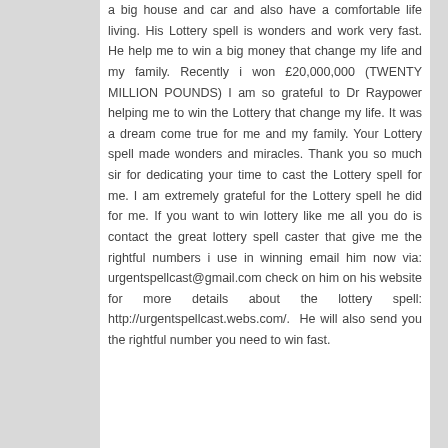a big house and car and also have a comfortable life living. His Lottery spell is wonders and work very fast. He help me to win a big money that change my life and my family. Recently i won £20,000,000 (TWENTY MILLION POUNDS) I am so grateful to Dr Raypower helping me to win the Lottery that change my life. It was a dream come true for me and my family. Your Lottery spell made wonders and miracles. Thank you so much sir for dedicating your time to cast the Lottery spell for me. I am extremely grateful for the Lottery spell he did for me. If you want to win lottery like me all you do is contact the great lottery spell caster that give me the rightful numbers i use in winning email him now via: urgentspellcast@gmail.com check on him on his website for more details about the lottery spell: http://urgentspellcast.webs.com/. He will also send you the rightful number you need to win fast.